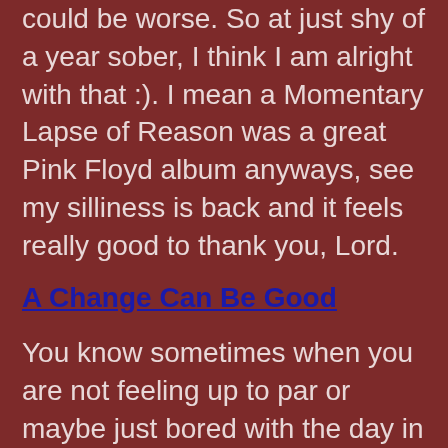could be worse. So at just shy of a year sober, I think I am alright with that :). I mean a Momentary Lapse of Reason was a great Pink Floyd album anyways, see my silliness is back and it feels really good to thank you, Lord.
A Change Can Be Good
You know sometimes when you are not feeling up to par or maybe just bored with the day in day out routine of your life and you find yourself not wanting to do anything? That is kind of where I had been lately. I give credit to my medications for helping alleviate some of that but I also today did something that I think may have been the other helping factor. I went to this